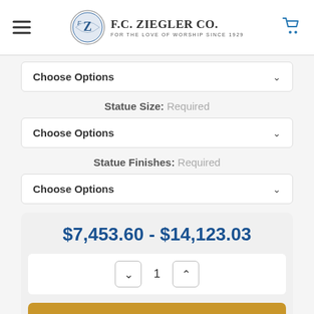F.C. Ziegler Co. — For the Love of Worship Since 1929
Choose Options (dropdown)
Statue Size: Required
Choose Options (dropdown)
Statue Finishes: Required
Choose Options (dropdown)
$7,453.60 - $14,123.03
Quantity: 1
Add to Cart